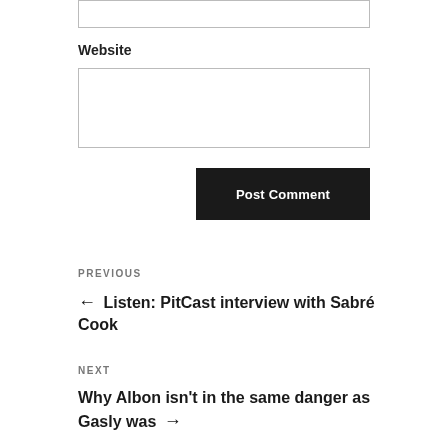(input box — top, partially visible)
Website
(Website input box)
Post Comment
PREVIOUS
← Listen: PitCast interview with Sabré Cook
NEXT
Why Albon isn't in the same danger as Gasly was →